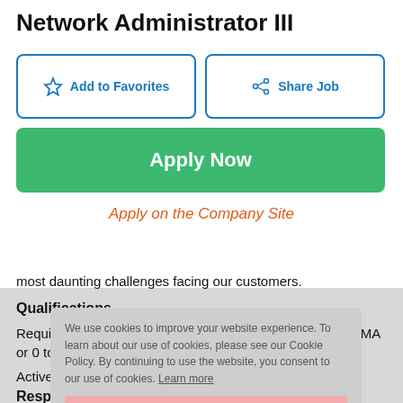Network Administrator III
Add to Favorites
Share Job
Apply Now
Apply on the Company Site
most daunting challenges facing our customers.
Qualifications
Requires 5 to 8 years with BS/BA or 3 to 5 years with MS/MA or 0 to 2 years with PhD.
Active Secret Clearance
Responsibilities
We use cookies to improve your website experience. To learn about our use of cookies, please see our Cookie Policy. By continuing to use the website, you consent to our use of cookies. Learn more
Got it!